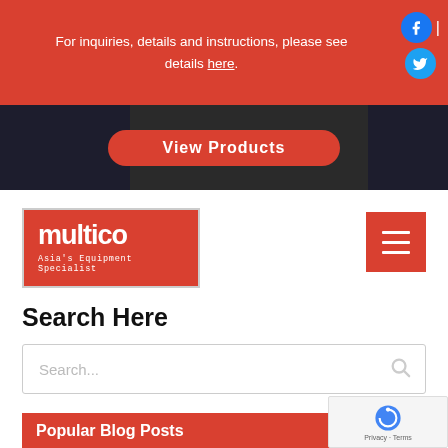For inquiries, details and instructions, please see details here.
[Figure (screenshot): View Products button on dark hero image background]
[Figure (logo): Multico logo - red background with white text, tagline: Asia's Equipment Specialist]
Search Here
Popular Blog Posts
The Different Types of Rock
March 22, 2018
What are the different rock types you can utilize on the construction